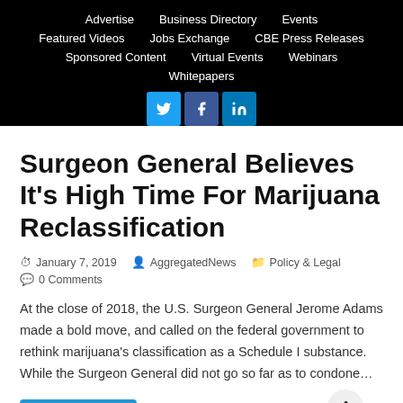Advertise | Business Directory | Events | Featured Videos | Jobs Exchange | CBE Press Releases | Sponsored Content | Virtual Events | Webinars | Whitepapers
Surgeon General Believes It's High Time For Marijuana Reclassification
January 7, 2019   AggregatedNews   Policy & Legal   0 Comments
At the close of 2018, the U.S. Surgeon General Jerome Adams made a bold move, and called on the federal government to rethink marijuana's classification as a Schedule I substance. While the Surgeon General did not go so far as to condone…
Read More